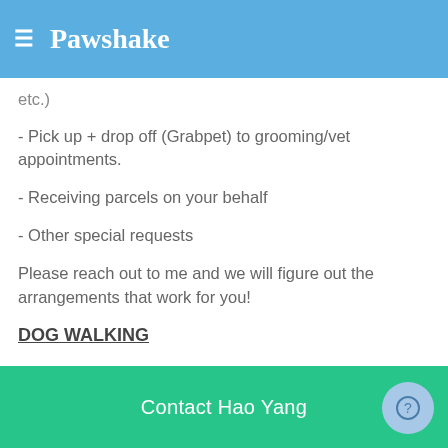Pawshake
etc.)
- Pick up + drop off (Grabpet) to grooming/vet appointments.
- Receiving parcels on your behalf
- Other special requests
Please reach out to me and we will figure out the arrangements that work for you!
DOG WALKING
- Pick up and drop off from your doorstep
- Walking route (clipped/cut off)
Contact Hao Yang